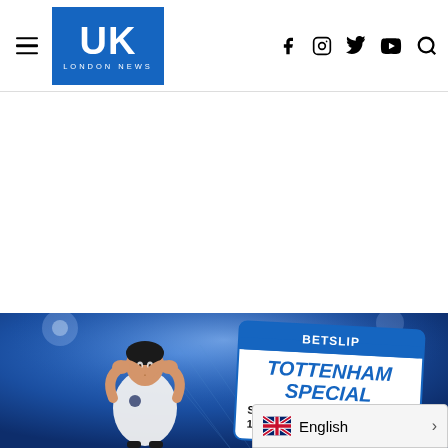UK London News — navigation header with hamburger menu, logo, and social icons (Facebook, Instagram, Twitter, YouTube, Search)
[Figure (illustration): Advertisement/blank white space area below header]
[Figure (illustration): Promotional banner for a betting site featuring a footballer (Son Heung-min style player) clapping, with a betslip card showing 'BETSLIP', 'TOTTENHAM SPECIAL', 'SON...', '1+ P...', '1+...' text on a blue stadium background]
English >